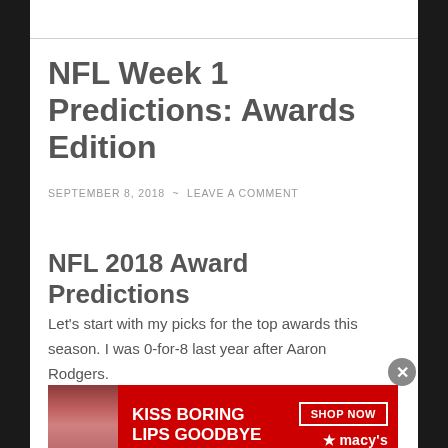NFL Week 1 Predictions: Awards Edition
SEPTEMBER 8, 2018  ~  LEAVE A COMMENT
NFL 2018 Award Predictions
Let's start with my picks for the top awards this season. I was 0-for-8 last year after Aaron Rodgers.
Advertisements
[Figure (photo): Advertisement banner for Macy's featuring 'KISS BORING LIPS GOODBYE' with a SHOP NOW button and Macy's logo on red background]